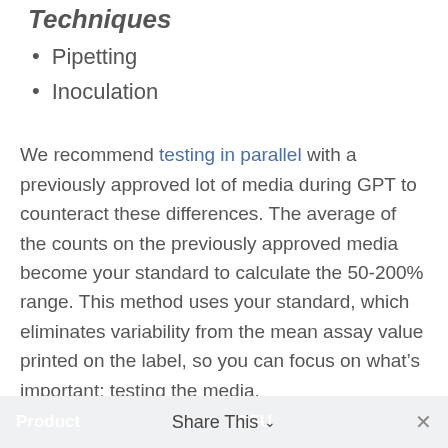Techniques
Pipetting
Inoculation
We recommend testing in parallel with a previously approved lot of media during GPT to counteract these differences. The average of the counts on the previously approved media become your standard to calculate the 50-200% range. This method uses your standard, which eliminates variability from the mean assay value printed on the label, so you can focus on what’s important: testing the media.
Microbiologics guarantees that if processed as directed your results will be within the specific CFU concentration range designated for each enumerated product line:
| Product | CFU |
| --- | --- |